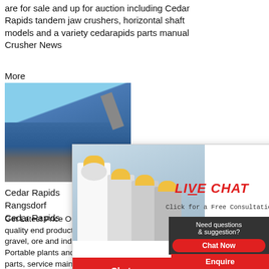are for sale and up for auction including Cedar Rapids tandem jaw crushers, horizontal shaft models and a variety cedarapids parts manual Crusher News
More
[Figure (photo): Blue mobile crusher/jaw crusher machine at a quarry site with excavator arm visible above, outdoors under blue sky.]
Cedar Rapids
Rangsdorf
Cedar Rapids
[Figure (photo): Live Chat popup overlay showing construction workers in yellow helmets and the text LIVE CHAT Click for a Free Consultation with Chat now and Chat later buttons.]
[Figure (photo): Right-side panel showing Hrs Online banner in red, and a female customer service agent with headset smiling.]
Get Latest Price Our equipment is designed highest quality end products in processing rock, sand and gravel, ore and industrial provide Modular and Portable plants and components ndash plus full parts, service maintenance with support you can count are.
Need questions & suggestion?
Chat Now
Enquire